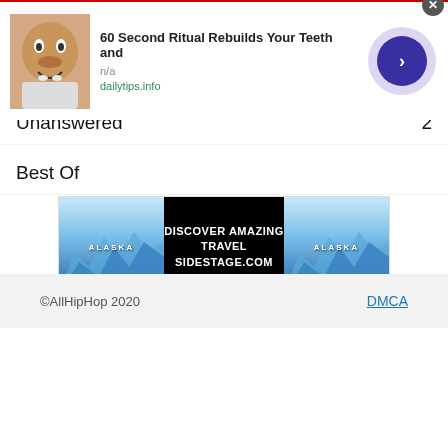AllHipHop
Groups
Unanswered  2
Best Of
[Figure (other): Advertisement banner for Alaska travel - DISCOVER AMAZING TRAVEL SIDESTAGE.COM]
©AllHipHop 2020   DMCA
[Figure (other): Bottom advertisement: 60 Second Ritual Rebuilds Your Teeth and - n/a - dailytips.info]